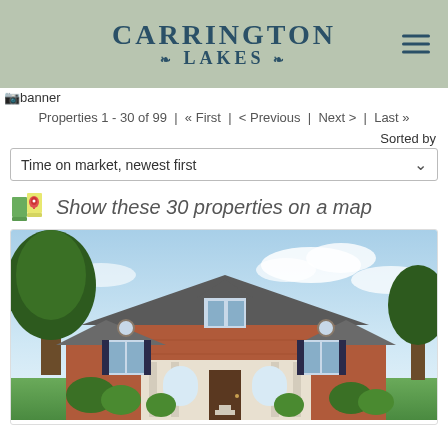[Figure (logo): Carrington Lakes logo with teal text on sage green background]
[Figure (photo): Banner image placeholder]
Properties 1 - 30 of 99 | « First | < Previous | Next > | Last »
Sorted by
Time on market, newest first
Show these 30 properties on a map
[Figure (photo): Photo of a brick house with trees and landscaping]